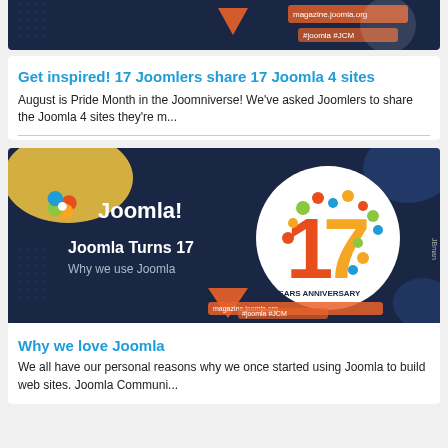[Figure (illustration): Joomla 17 Years Anniversary magazine banner — dark navy background, orange triangle, colorful '17' circle, magazine.joomla.org URL, #joomla #JCM hashtags — partially cropped at top]
Get inspired! 17 Joomlers share 17 Joomla 4 sites
August is Pride Month in the Joomniverse! We've asked Joomlers to share the Joomla 4 sites they're m...
[Figure (illustration): Joomla! logo with 'Joomla Turns 17 / Why we use Joomla' text, colorful '17' anniversary circle, YEARS ANNIVERSARY label, magazine.joomla.org, #joomla #JCM — dark navy background]
Why we love Joomla
We all have our personal reasons why we once started using Joomla to build web sites. Joomla Communi...